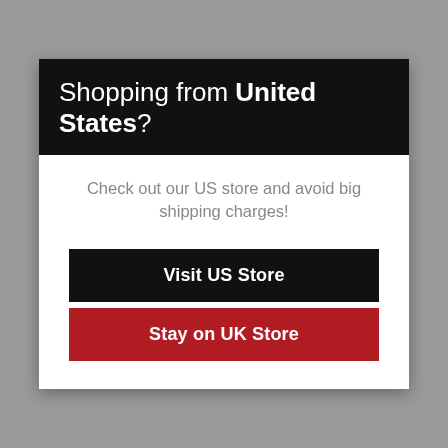Shopping from United States?
Check out our US store and avoid big shipping charges!
Visit US Store
Stay on UK Store